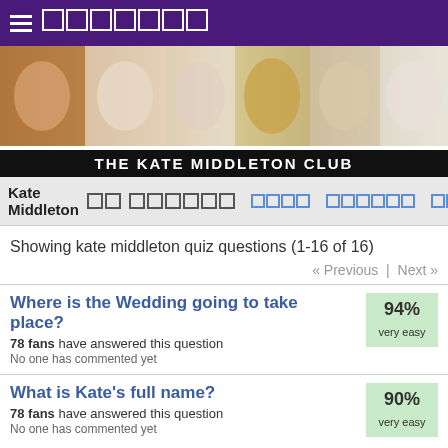≡ [squares] THE KATE MIDDLETON CLUB
[Figure (photo): Banner of multiple photos of Kate Middleton]
THE KATE MIDDLETON CLUB
Kate Middleton [squares] [squares] [link squares]
Showing kate middleton quiz questions (1-16 of 16)
« Previous | Next »
Where is the Wedding going to take place? 78 fans have answered this question. No one has commented yet. 94% very easy
What is Kate's full name? 78 fans have answered this question. No one has commented yet. 90% very easy
when is the [squares] of the wedding? 77 fans have answered this question. 1 comment. 95% cakewalk
What is her mum's name? 75 fans have answered this question. 87% very easy